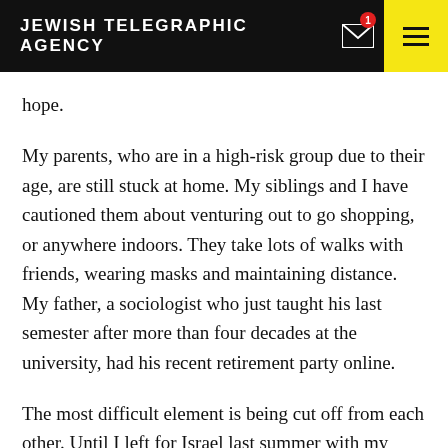JEWISH TELEGRAPHIC AGENCY
hope.
My parents, who are in a high-risk group due to their age, are still stuck at home. My siblings and I have cautioned them about venturing out to go shopping, or anywhere indoors. They take lots of walks with friends, wearing masks and maintaining distance. My father, a sociologist who just taught his last semester after more than four decades at the university, had his recent retirement party online.
The most difficult element is being cut off from each other. Until I left for Israel last summer with my wife